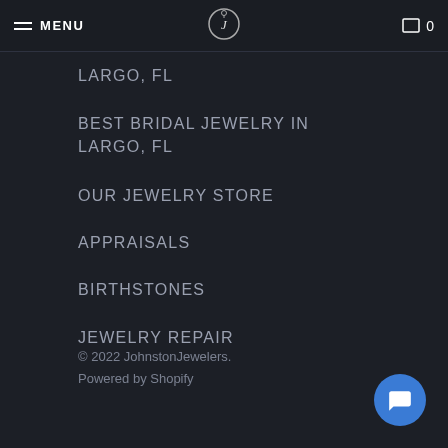MENU | JohnstonJewelers logo | Cart 0
LARGO, FL
BEST BRIDAL JEWELRY IN LARGO, FL
OUR JEWELRY STORE
APPRAISALS
BIRTHSTONES
JEWELRY REPAIR
© 2022 JohnstonJewelers. Powered by Shopify